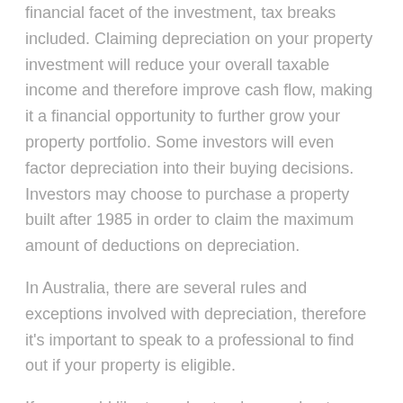financial facet of the investment, tax breaks included. Claiming depreciation on your property investment will reduce your overall taxable income and therefore improve cash flow, making it a financial opportunity to further grow your property portfolio. Some investors will even factor depreciation into their buying decisions. Investors may choose to purchase a property built after 1985 in order to claim the maximum amount of deductions on depreciation.
In Australia, there are several rules and exceptions involved with depreciation, therefore it's important to speak to a professional to find out if your property is eligible.
If you would like to understand more about